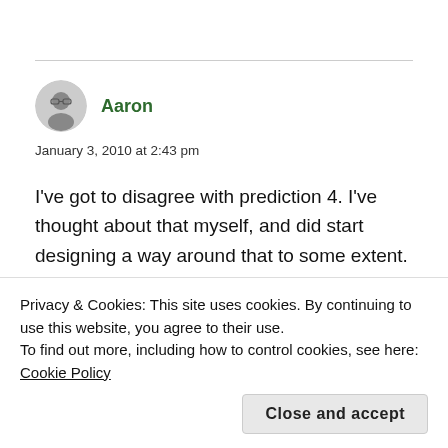Aaron
January 3, 2010 at 2:43 pm
I've got to disagree with prediction 4. I've thought about that myself, and did start designing a way around that to some extent.
But to be honest, I'm not sure there's any point
Privacy & Cookies: This site uses cookies. By continuing to use this website, you agree to their use.
To find out more, including how to control cookies, see here: Cookie Policy
Close and accept
anyway. As for non-news posts, I wonder if many